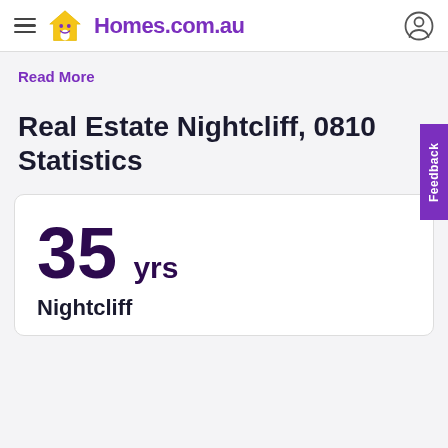Homes.com.au
Read More
Real Estate Nightcliff, 0810 Statistics
35 yrs
Nightcliff